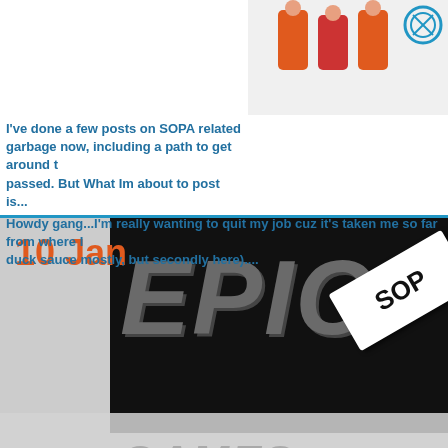[Figure (screenshot): Top section showing partial blog post with image on right side (sports/figures illustration)]
I've done a few posts on SOPA related garbage now, including a path to get around the passed. But What Im about to post is....
[Figure (screenshot): Middle blog post card with dark background showing large 'EPIC' text in metallic style and a SOPA label sign rotated, date 10 Jan]
Howdy gang...I'm really wanting to quit my job cuz it's taken me so far from where I duck sauce mostly, but secondly here)....
[Figure (screenshot): Bottom blog post card showing date 29 Dec with partial image of what appears to be tools/screwdrivers]
10 Jan
29 Dec